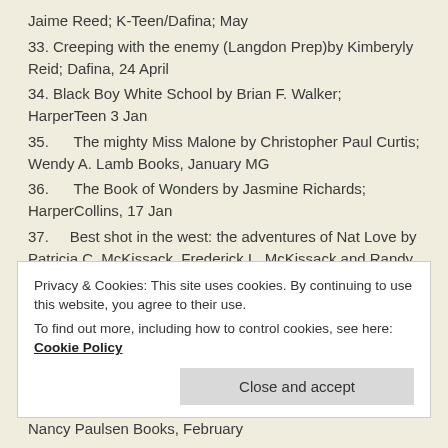Jaime Reed; K-Teen/Dafina; May
33. Creeping with the enemy (Langdon Prep)by Kimberyly Reid; Dafina, 24 April
34. Black Boy White School by Brian F. Walker; HarperTeen 3 Jan
35.      The mighty Miss Malone by Christopher Paul Curtis; Wendy A. Lamb Books, January MG
36.      The Book of Wonders by Jasmine Richards; HarperCollins, 17 Jan
37.      Best shot in the west: the adventures of Nat Love by Patricia C. McKissack, Frederick L. McKissack and Randy Duburke; Chronicle Books,  18 January GRAPHIC NOVEL
Privacy & Cookies: This site uses cookies. By continuing to use this website, you agree to their use.
To find out more, including how to control cookies, see here: Cookie Policy
Nancy Paulsen Books, February